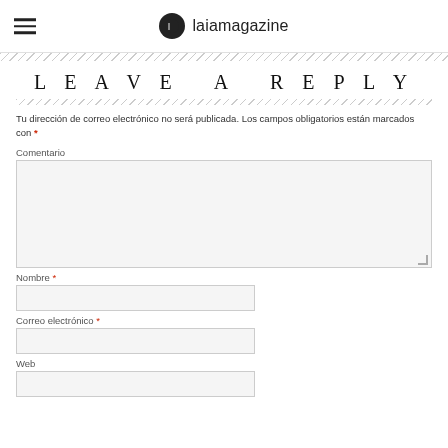laiamagazine
LEAVE A REPLY
Tu dirección de correo electrónico no será publicada. Los campos obligatorios están marcados con *
Comentario
Nombre *
Correo electrónico *
Web